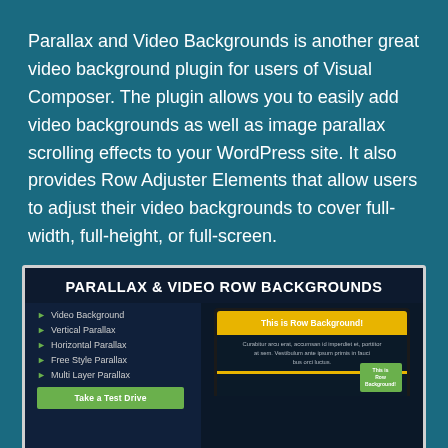Parallax and Video Backgrounds is another great video background plugin for users of Visual Composer. The plugin allows you to easily add video backgrounds as well as image parallax scrolling effects to your WordPress site. It also provides Row Adjuster Elements that allow users to adjust their video backgrounds to cover full-width, full-height, or full-screen.
[Figure (screenshot): Screenshot of the Parallax & Video Row Backgrounds plugin interface showing a laptop mockup with 'This is Row Background!' in a yellow bar, body text, and a green button. Left side lists features: Video Background, Vertical Parallax, Horizontal Parallax, Free Style Parallax, Multi Layer Parallax, and a Take a Test Drive button.]